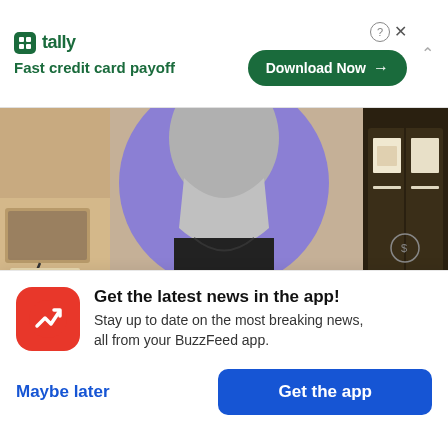[Figure (screenshot): Tally app advertisement banner with logo, 'Fast credit card payoff' tagline, and 'Download Now' button]
[Figure (photo): Black and white photo of a person (neck/lower face visible) against a purple circle background, with desk items on left and dark storage box on right, sepia/warm toned]
Ben Kothe / BuzzFeed News; Courtesy Sarah Gailey
Here at BuzzFeed Books. we've fallen in love with
[Figure (screenshot): BuzzFeed app promotional overlay with red BuzzFeed logo icon, headline 'Get the latest news in the app!', subtext 'Stay up to date on the most breaking news, all from your BuzzFeed app.', with 'Maybe later' and 'Get the app' buttons]